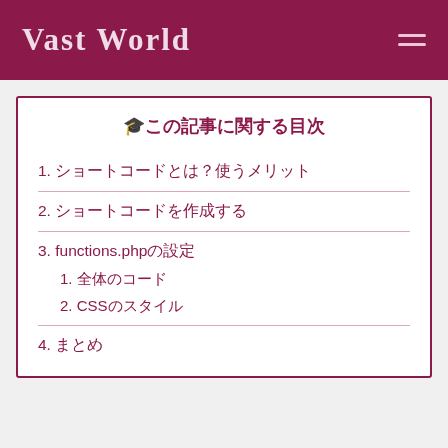Vast World
🎓この記事に関する目次
1. ショートコードとは？使うメリット
2. ショートコードを作成する
3. functions.phpの設定
1. 全体のコード
2. CSSのスタイル
4. まとめ